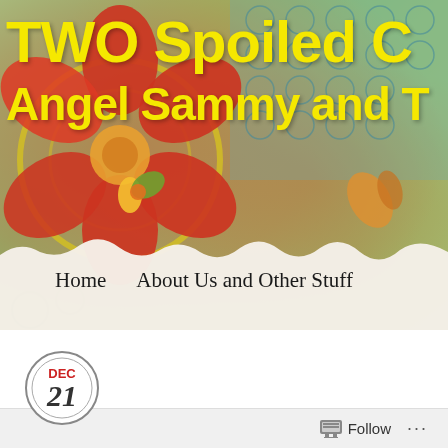[Figure (illustration): Colorful floral and decorative pattern banner background with red flowers, green leaves, circular motifs on a green/teal patterned background. A torn paper effect overlays the bottom of the banner revealing navigation links.]
TWO Spoiled C
Angel Sammy and T
Home    About Us and Other Stuff
Teaser Tell All, Christmas S
Posted on December 21, 2016 by onespoiled
Tell All Time!
Follow ...